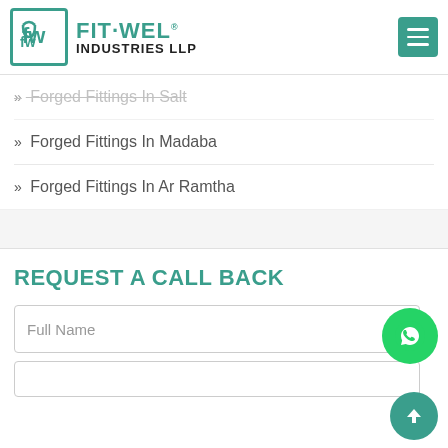[Figure (logo): Fit-Wel Industries LLP logo with stylized FW monogram in teal bordered box and teal/black company name text]
» Forged Fittings In Salt
» Forged Fittings In Madaba
» Forged Fittings In Ar Ramtha
REQUEST A CALL BACK
Full Name